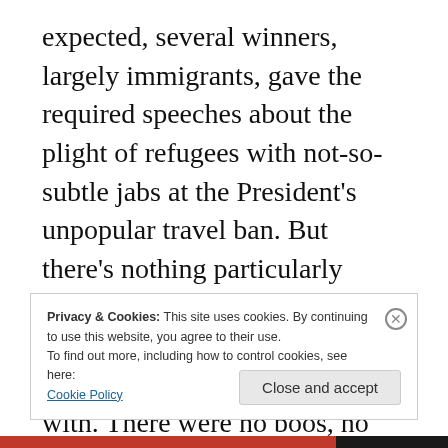expected, several winners, largely immigrants, gave the required speeches about the plight of refugees with not-so-subtle jabs at the President's unpopular travel ban. But there's nothing particularly contentious about a roomful of mostly liberal movie stars cheering on opinions they agree with. There were no boos, no hisses, no disclaimers, not even enough controversy to piss off President Trump, who shockingly felt no need to respond with an early morning Twitter rant.
Privacy & Cookies: This site uses cookies. By continuing to use this website, you agree to their use.
To find out more, including how to control cookies, see here: Cookie Policy